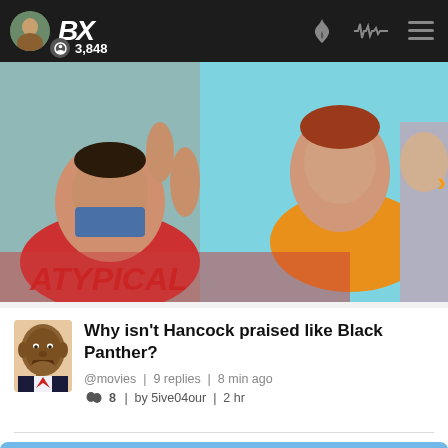BX | 3,848
[Figure (screenshot): A promotional banner image showing people lying down viewed from above, resembling a TV show promo. Colorful background with teal and orange tones. Partial text visible.]
[Figure (photo): Small circular avatar of a person (resembling Barack Obama) used as a post author profile image]
Why isn't Hancock praised like Black Panther?
@movies | 9 replies | 8 min ago
👥 8 | by 5ive04our | 2 hr
[Figure (screenshot): Bottom banner showing Dragon Ball Final Bout game artwork with yellow logo text on blue background, dark character silhouette on right, refresh and arrow icons at bottom right, chevron-up button at top right.]